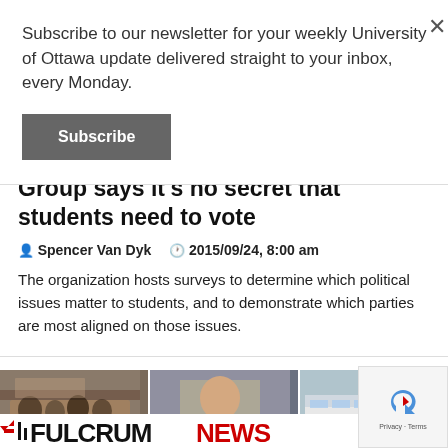Subscribe to our newsletter for your weekly University of Ottawa update delivered straight to your inbox, every Monday.
Subscribe
Group says it's no secret that students need to vote
Spencer Van Dyk   2015/09/24, 8:00 am
The organization hosts surveys to determine which political issues matter to students, and to demonstrate which parties are most aligned on those issues.
[Figure (photo): Three news thumbnails: crowd in auditorium, politician at hearing, Ottawa bus on street]
[Figure (logo): Fulcrum NEWS logo in black and red]